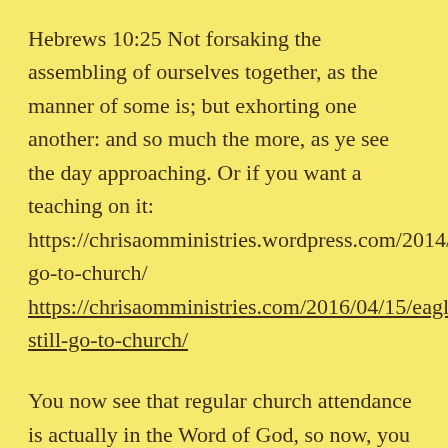Hebrews 10:25 Not forsaking the assembling of ourselves together, as the manner of some is; but exhorting one another: and so much the more, as ye see the day approaching. Or if you want a teaching on it: https://chrisaomministries.wordpress.com/2014/12/04/why-go-to-church/ https://chrisaomministries.com/2016/04/15/eagles-still-go-to-church/
You now see that regular church attendance is actually in the Word of God, so now, you